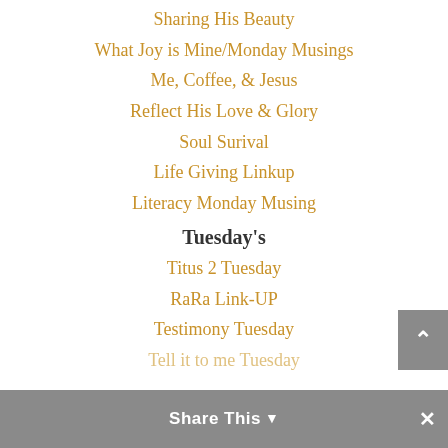Sharing His Beauty
What Joy is Mine/Monday Musings
Me, Coffee, & Jesus
Reflect His Love & Glory
Soul Surival
Life Giving Linkup
Literacy Monday Musing
Tuesday's
Titus 2 Tuesday
RaRa Link-UP
Testimony Tuesday
Tell it to me Tuesday
Share This